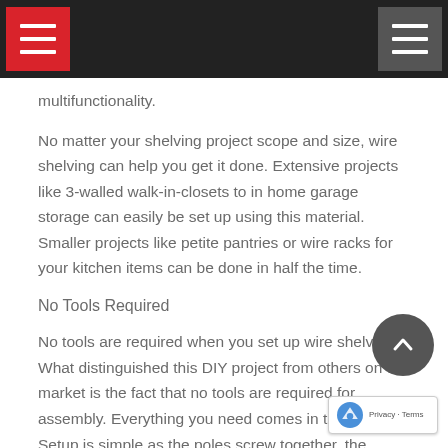[navigation bar with hamburger menus]
multifunctionality.
No matter your shelving project scope and size, wire shelving can help you get it done. Extensive projects like 3-walled walk-in-closets to in home garage storage can easily be set up using this material. Smaller projects like petite pantries or wire racks for your kitchen items can be done in half the time.
No Tools Required
No tools are required when you set up wire shelving. What distinguished this DIY project from others on the market is the fact that no tools are required for assembly. Everything you need comes in the box. Setup is simple as the poles screw together, the levelers or casters screw in, and the shelves are held